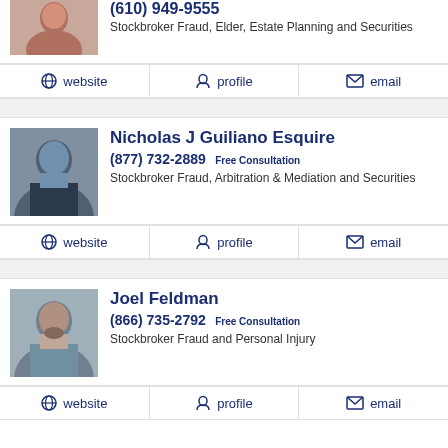(610) 949-9555
Stockbroker Fraud, Elder, Estate Planning and Securities
website | profile | email
Nicholas J Guiliano Esquire
(877) 732-2889 Free Consultation
Stockbroker Fraud, Arbitration & Mediation and Securities
website | profile | email
Joel Feldman
(866) 735-2792 Free Consultation
Stockbroker Fraud and Personal Injury
website | profile | email